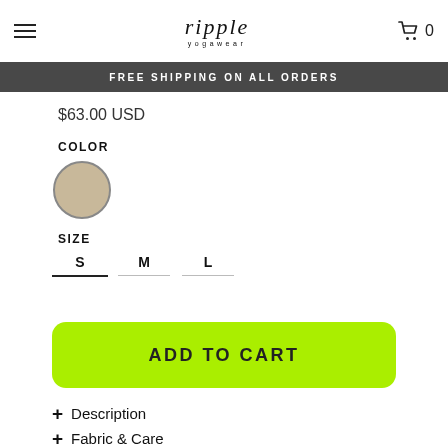ripple yogawear
Organic Cotton Hood Criss
FREE SHIPPING ON ALL ORDERS
$63.00 USD
COLOR
[Figure (other): Beige/tan color swatch circle with grey border]
SIZE
S  M  L
ADD TO CART
+ Description
+ Fabric & Care
+ Fit & Sizing